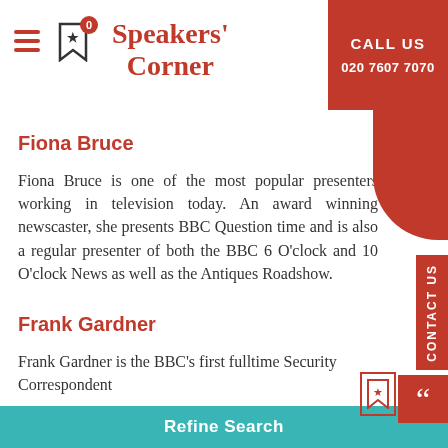Speakers Corner — CALL US 020 7607 7070
Fiona Bruce
Fiona Bruce is one of the most popular presenters working in television today. An award winning newscaster, she presents BBC Question time and is also a regular presenter of both the BBC 6 O'clock and 10 O'clock News as well as the Antiques Roadshow.
Frank Gardner
Frank Gardner is the BBC's first fulltime Security Correspondent
Refine Search